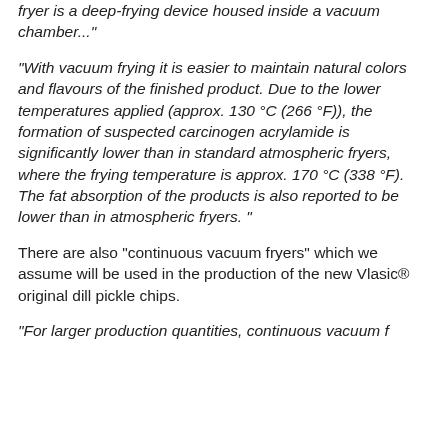fryer is a deep-frying device housed inside a vacuum chamber..."
"With vacuum frying it is easier to maintain natural colors and flavours of the finished product. Due to the lower temperatures applied (approx. 130 °C (266 °F)), the formation of suspected carcinogen acrylamide is significantly lower than in standard atmospheric fryers, where the frying temperature is approx. 170 °C (338 °F). The fat absorption of the products is also reported to be lower than in atmospheric fryers."
There are also "continuous vacuum fryers" which we assume will be used in the production of the new Vlasic® original dill pickle chips.
"For larger production quantities, continuous vacuum f...